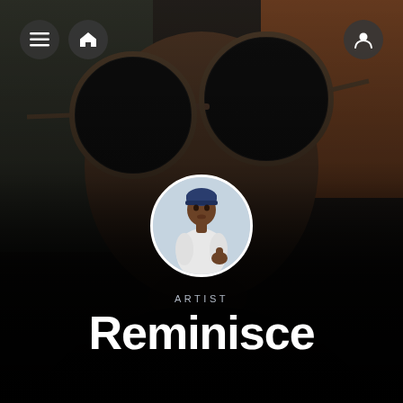[Figure (photo): Full-page background photo of a person wearing large round dark sunglasses, close-up face shot, dark clothing, with a colorful/urban background behind them. Dark gradient overlay applied over the lower portion.]
[Figure (photo): Circular profile avatar of a young man wearing a blue beanie hat and white outfit, giving a thumbs up, against a light blue/grey background.]
ARTIST
Reminisce